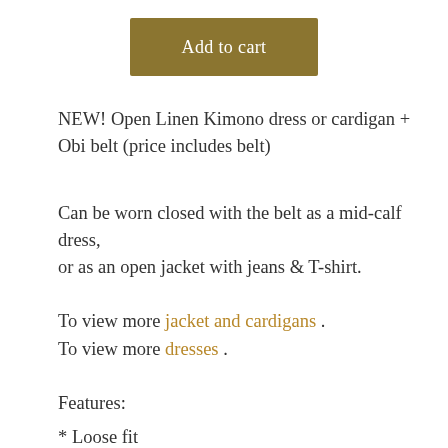[Figure (other): Gold/olive colored 'Add to cart' button]
NEW! Open Linen Kimono dress or cardigan + Obi belt (price includes belt)
Can be worn closed with the belt as a mid-calf dress,
or as an open jacket with jeans & T-shirt.
To view more jacket and cardigans .
To view more dresses .
Features:
* Loose fit